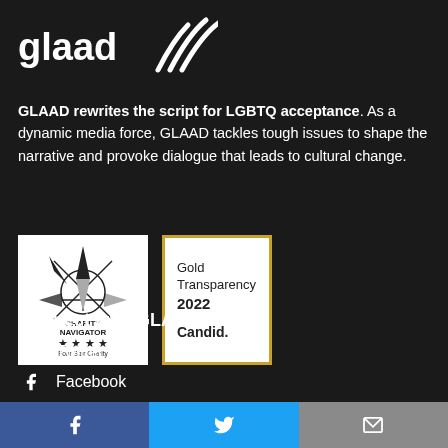[Figure (logo): GLAAD logo with text 'glaad' and sound wave icon in white on dark background]
GLAAD rewrites the script for LGBTQ acceptance. As a dynamic media force, GLAAD tackles tough issues to shape the narrative and provoke dialogue that leads to cultural change.
[Figure (illustration): Charity Navigator four-star charity badge (white square with compass rose graphic, star rating, and text 'Four Star Charity')]
[Figure (illustration): Candid Gold Transparency 2022 badge (white square with gold border, text 'Gold Transparency 2022 Candid.')]
Connect with GLAAD
Twitter
Facebook
[Figure (infographic): Bottom share bar with three buttons: Facebook (blue), Twitter (light blue), Email (gray)]